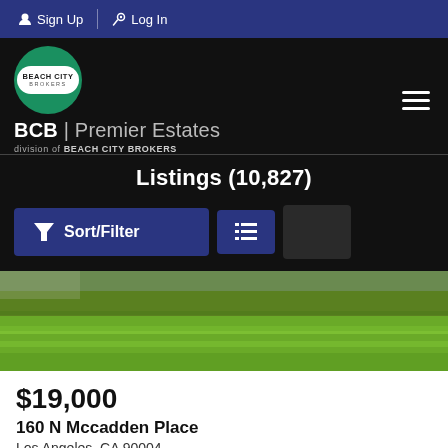Sign Up | Log In
[Figure (logo): Beach City Brokers logo with BCB Premier Estates branding on dark background]
Listings (10,827)
Sort/Filter [list view toggle]
[Figure (photo): Photograph of a green lawn/grass area for property listing]
$19,000
160 N Mccadden Place
Los Angeles, CA 90004
For Rent | 5 beds | 5.5 baths | 0.234 acres | #22191705